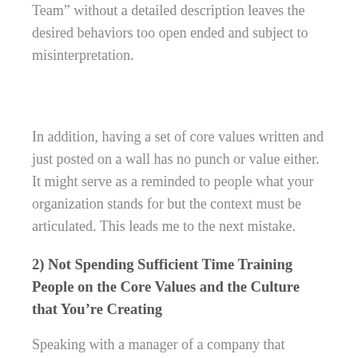Team” without a detailed description leaves the desired behaviors too open ended and subject to misinterpretation.
In addition, having a set of core values written and just posted on a wall has no punch or value either. It might serve as a reminded to people what your organization stands for but the context must be articulated. This leads me to the next mistake.
2) Not Spending Sufficient Time Training People on the Core Values and the Culture that You’re Creating
Speaking with a manager of a company that